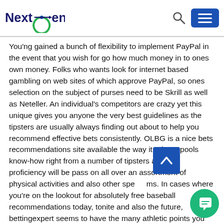NextGen [logo]
You'ng gained a bunch of flexibility to implement PayPal in the event that you wish for go how much money in to ones own money. Folks who wants look for internet based gambling on web sites of which approve PayPal, so ones selection on the subject of purses need to be Skrill as well as Neteller. An individual's competitors are crazy yet this unique gives you anyone the very best guidelines as the tipsters are usually always finding out about to help you recommend effective bets consistently. OLBG is a nice bets recommendations site available the way it private pools know-how right from a number of tipsters as their proficiency will be pass on all over an assortment of physical activities and also other spe[...]ms. In cases where you're on the lookout for absolutely free baseball recommendations today, tonite and also the future, bettingexpert seems to have the many athletic points you need. All the fees which usually PayPal fees to develop m[...] the us dollars with regards to your advance payment are